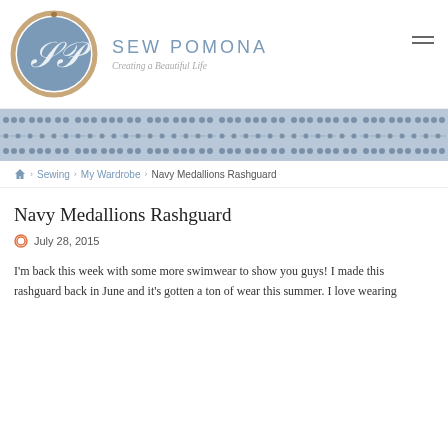[Figure (logo): Sew Pomona circular embroidery hoop logo with stylized SP monogram on blue background]
SEW POMONA
Creating a Beautiful Life
[Figure (illustration): Decorative stitching/border pattern banner in muted blue]
Home > Sewing > My Wardrobe > Navy Medallions Rashguard
Navy Medallions Rashguard
July 28, 2015
I'm back this week with some more swimwear to show you guys!  I made this rashguard back in June and it's gotten a ton of wear this summer. I love wearing